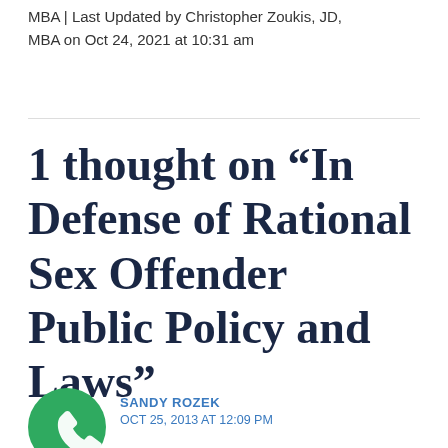MBA | Last Updated by Christopher Zoukis, JD, MBA on Oct 24, 2021 at 10:31 am
1 thought on “In Defense of Rational Sex Offender Public Policy and Laws”
SANDY ROZEK
OCT 25, 2013 AT 12:09 PM